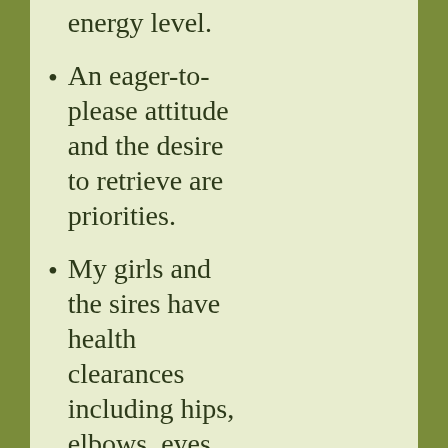moderate energy level.
An eager-to-please attitude and the desire to retrieve are priorities.
My girls and the sires have health clearances including hips, elbows, eyes, cardiac by echocardiogram, and numerous